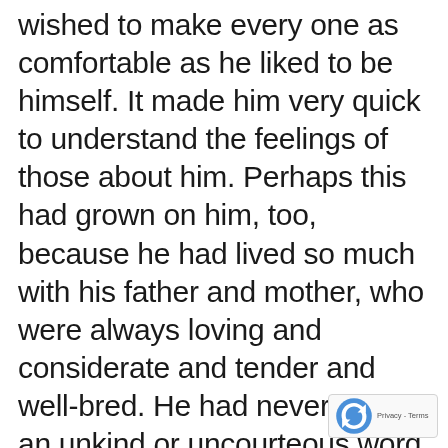wished to make every one as comfortable as he liked to be himself. It made him very quick to understand the feelings of those about him. Perhaps this had grown on him, too, because he had lived so much with his father and mother, who were always loving and considerate and tender and well-bred. He had never heard an unkind or uncourteous word spoken at home; he had always been loved and caressed and treated tenderly, and so his childish soul was full of kindness and innocent warm feeling. He had always heard his mamma called by pretty, loving names, and so he used